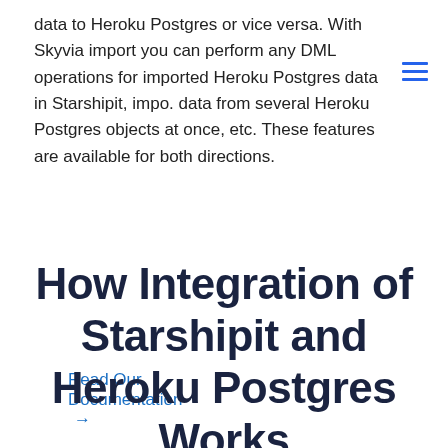data to Heroku Postgres or vice versa. With Skyvia import you can perform any DML operations for imported Heroku Postgres data in Starshipit, impo. data from several Heroku Postgres objects at once, etc. These features are available for both directions.
Read Our Documentation →
How Integration of Starshipit and Heroku Postgres Works